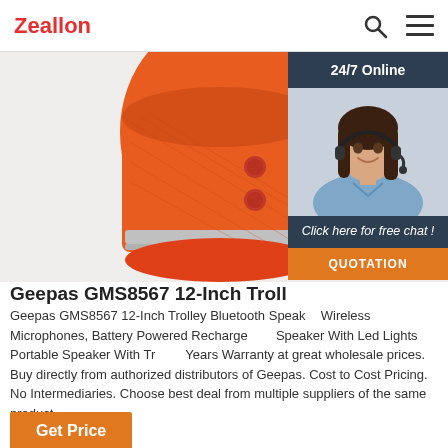Zeallon
[Figure (photo): Orange cylindrical Bluetooth speaker on white background, top portion visible with fabric texture and control buttons, with a 24/7 Online chat widget overlay showing a woman with headset]
Geepas GMS8567 12-Inch Trolley Bluetooth S
Geepas GMS8567 12-Inch Trolley Bluetooth Speaker With Wireless Microphones, Battery Powered Rechargeable Speaker With Led Lights Portable Speaker With Tr... Years Warranty at great wholesale prices. Buy directly from authorized distributors of Geepas. Cost to Cost Pricing. No Intermediaries. Choose best deal from multiple suppliers of the same product.
Get Price